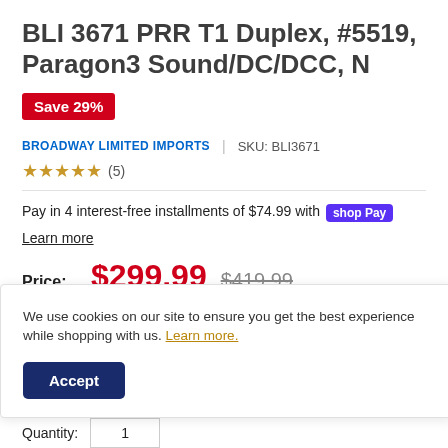BLI 3671 PRR T1 Duplex, #5519, Paragon3 Sound/DC/DCC, N
Save 29%
BROADWAY LIMITED IMPORTS | SKU: BLI3671
★★★★☆ (5)
Pay in 4 interest-free installments of $74.99 with shop Pay
Learn more
Price: $299.99  $419.99
We use cookies on our site to ensure you get the best experience while shopping with us. Learn more.
Accept
Quantity: 1